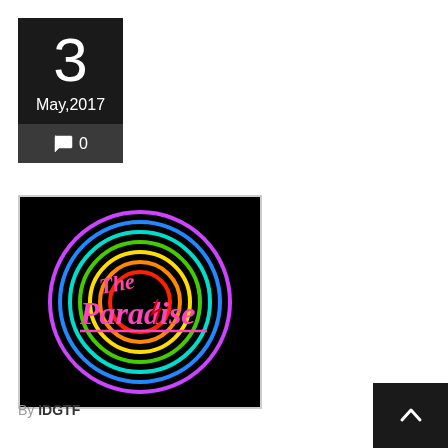3
May,2017
0
[Figure (logo): The Paradise neon sign logo with colorful concentric rainbow circles on black background, pink cursive text reading 'The Paradise']
By IDGTF